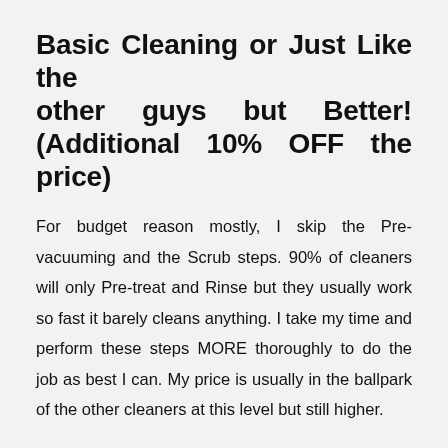Basic Cleaning or Just Like the other guys but Better! (Additional 10% OFF the price)
For budget reason mostly, I skip the Pre-vacuuming and the Scrub steps. 90% of cleaners will only Pre-treat and Rinse but they usually work so fast it barely cleans anything. I take my time and perform these steps MORE thoroughly to do the job as best I can. My price is usually in the ballpark of the other cleaners at this level but still higher.